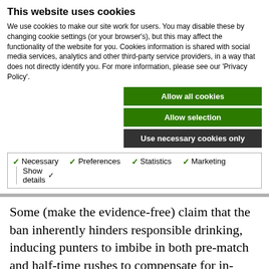This website uses cookies
We use cookies to make our site work for users. You may disable these by changing cookie settings (or your browser's), but this may affect the functionality of the website for you. Cookies information is shared with social media services, analytics and other third-party service providers, in a way that does not directly identify you. For more information, please see our 'Privacy Policy'.
Allow all cookies
Allow selection
Use necessary cookies only
Necessary  Preferences  Statistics  Marketing  Show details
Some (make the evidence-free) claim that the ban inherently hinders responsible drinking, inducing punters to imbibe in both pre-match and half-time rushes to compensate for in-game prohibition. The truth is that as a licensed venue, sporting